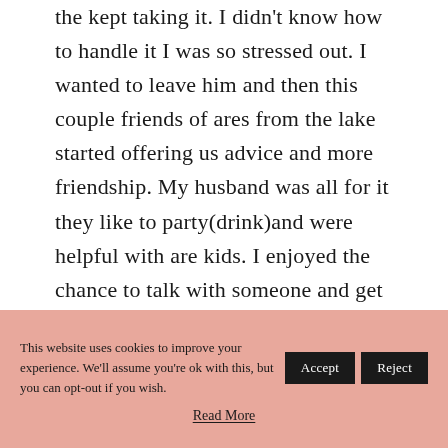the kept taking it. I didn't know how to handle it I was so stressed out. I wanted to leave him and then this couple friends of ares from the lake started offering us advice and more friendship. My husband was all for it they like to party(drink)and were helpful with are kids. I enjoyed the chance to talk with someone and get
This website uses cookies to improve your experience. We'll assume you're ok with this, but you can opt-out if you wish. [Accept] [Reject] Read More